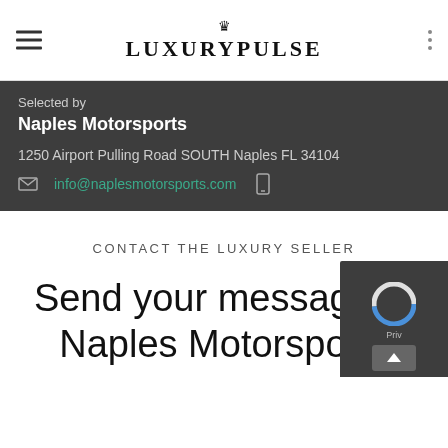LuxuryPulse
Selected by
Naples Motorsports
1250 Airport Pulling Road SOUTH Naples FL 34104
info@naplesmotorsports.com
CONTACT THE LUXURY SELLER
Send your message to Naples Motorsports